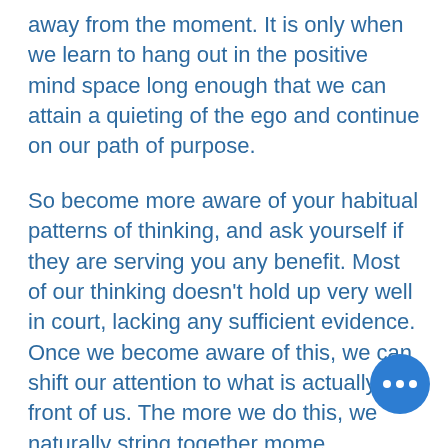away from the moment. It is only when we learn to hang out in the positive mind space long enough that we can attain a quieting of the ego and continue on our path of purpose.
So become more aware of your habitual patterns of thinking, and ask yourself if they are serving you any benefit. Most of our thinking doesn't hold up very well in court, lacking any sufficient evidence. Once we become aware of this, we can shift our attention to what is actually in front of us. The more we do this, we naturally string together moments of prolonged attention and are best suited to be our best selves. Life